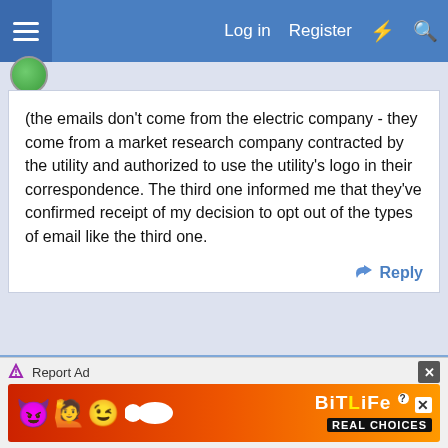Log in  Register
(the emails don't come from the electric company - they come from a market research company contracted by the utility and authorized to use the utility's logo in their correspondence. The third one informed me that they've confirmed receipt of my decision to opt out of the types of email like the third one.
Reply
16 Mar 2022  #3
AJB Temple
Finely figured
[Figure (screenshot): Ad banner for BitLife game - Report Ad label with emoji characters and 'REAL CHOICES' text on red/orange background]